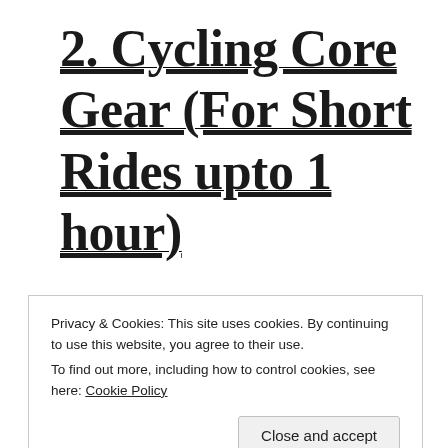2. Cycling Core Gear (For Short Rides upto 1 hour)
Privacy & Cookies: This site uses cookies. By continuing to use this website, you agree to their use.
To find out more, including how to control cookies, see here: Cookie Policy
Close and accept